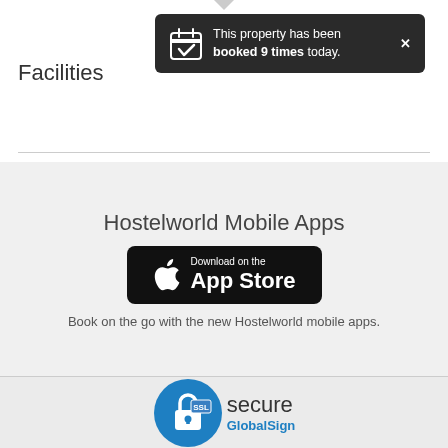[Figure (screenshot): Tooltip notification on dark background: calendar icon with checkmark, text 'This property has been booked 9 times today.' and close X button]
Facilities
Hostelworld Mobile Apps
[Figure (logo): Download on the App Store button - black rounded rectangle with Apple logo and text 'Download on the App Store']
Book on the go with the new Hostelworld mobile apps.
[Figure (logo): SSL Secure GlobalSign badge - blue padlock with SSL text and 'secure GlobalSign' text]